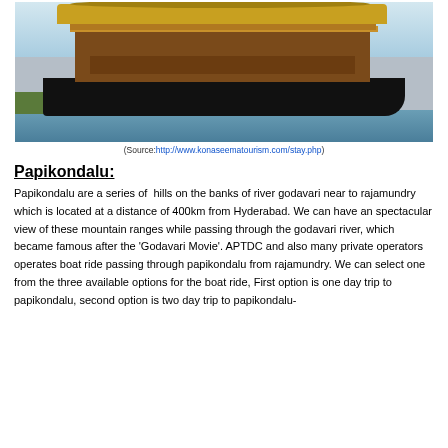[Figure (photo): A wooden houseboat with thatched roof moored near the shore on a river, with blue-grey water in the background and green vegetation on the left bank.]
(Source:http://www.konaseematourism.com/stay.php)
Papikondalu:
Papikondalu are a series of  hills on the banks of river godavari near to rajamundry which is located at a distance of 400km from Hyderabad. We can have an spectacular view of these mountain ranges while passing through the godavari river, which became famous after the 'Godavari Movie'. APTDC and also many private operators operates boat ride passing through papikondalu from rajamundry. We can select one from the three available options for the boat ride, First option is one day trip to papikondalu, second option is two day trip to papikondalu-